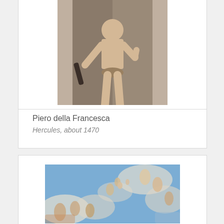[Figure (photo): Painting of Hercules standing, partially clothed, holding a club, by Piero della Francesca, about 1470]
Piero della Francesca
Hercules, about 1470
[Figure (photo): Baroque ceiling painting with mythological figures, angels, and clouds in blue sky]